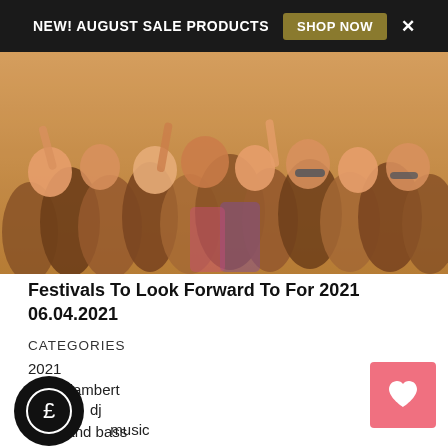NEW! AUGUST SALE PRODUCTS  SHOP NOW  ×
[Figure (photo): Festival crowd of people at an outdoor music festival, many people visible, some with arms raised, colourful clothing.]
Festivals To Look Forward To For 2021
06.04.2021
CATEGORIES
2021
adam lambert
cd
dance music
dj
drum and bass